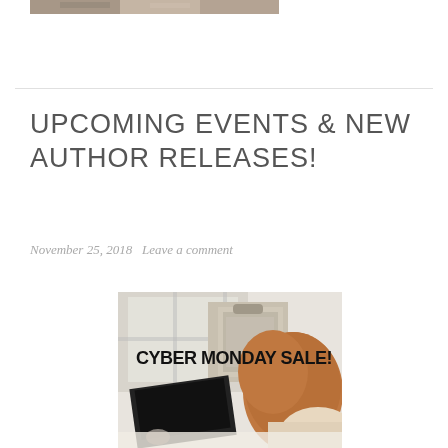[Figure (photo): Partial top image crop of what appears to be an outdoor or nature scene in grayscale tones]
UPCOMING EVENTS & NEW AUTHOR RELEASES!
November 25, 2018   Leave a comment
[Figure (photo): Photo of a woman with auburn hair sitting at a laptop near a window, with a gray backpack visible. Bold text overlay reads CYBER MONDAY SALE!]